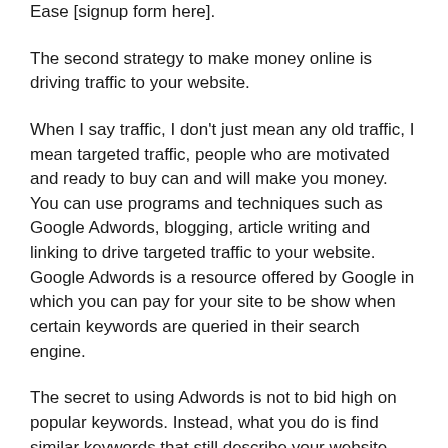Ease [signup form here].
The second strategy to make money online is driving traffic to your website.
When I say traffic, I don't just mean any old traffic, I mean targeted traffic, people who are motivated and ready to buy can and will make you money. You can use programs and techniques such as Google Adwords, blogging, article writing and linking to drive targeted traffic to your website. Google Adwords is a resource offered by Google in which you can pay for your site to be show when certain keywords are queried in their search engine.
The secret to using Adwords is not to bid high on popular keywords. Instead, what you do is find similar keywords that still describe your website, but are used much less frequent. These keywords will cost much